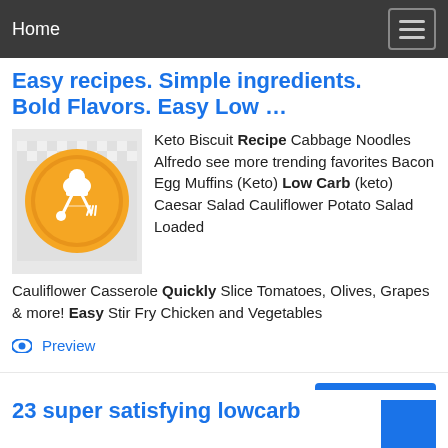Home
Easy recipes. Simple ingredients. Bold Flavors. Easy Low …
[Figure (logo): Orange circle logo with white chef hat, spoon, and fork icons crossed]
Keto Biscuit Recipe Cabbage Noodles Alfredo see more trending favorites Bacon Egg Muffins (Keto) Low Carb (keto) Caesar Salad Cauliflower Potato Salad Loaded Cauliflower Casserole Quickly Slice Tomatoes, Olives, Grapes & more! Easy Stir Fry Chicken and Vegetables
👁 Preview
See Also: Easy quick meals recipes
23 super satisfying lowcarb dinners for dinner